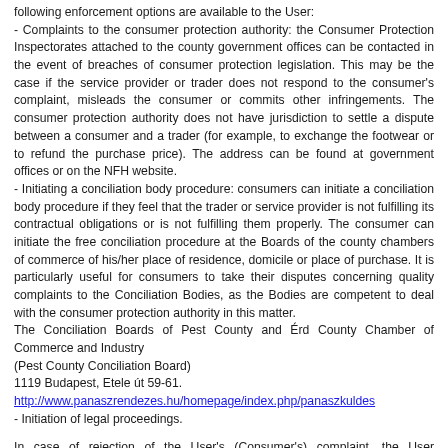following enforcement options are available to the User:
- Complaints to the consumer protection authority: the Consumer Protection Inspectorates attached to the county government offices can be contacted in the event of breaches of consumer protection legislation. This may be the case if the service provider or trader does not respond to the consumer's complaint, misleads the consumer or commits other infringements. The consumer protection authority does not have jurisdiction to settle a dispute between a consumer and a trader (for example, to exchange the footwear or to refund the purchase price). The address can be found at government offices or on the NFH website.
- Initiating a conciliation body procedure: consumers can initiate a conciliation body procedure if they feel that the trader or service provider is not fulfilling its contractual obligations or is not fulfilling them properly. The consumer can initiate the free conciliation procedure at the Boards of the county chambers of commerce of his/her place of residence, domicile or place of purchase. It is particularly useful for consumers to take their disputes concerning quality complaints to the Conciliation Bodies, as the Bodies are competent to deal with the consumer protection authority in this matter.
The Conciliation Boards of Pest County and Érd County Chamber of Commerce and Industry
(Pest County Conciliation Board)
1119 Budapest, Etele út 59-61.
http://www.panaszrendezes.hu/homepage/index.php/panaszkuldes
- Initiation of legal proceedings.
In case of rejection of the User's (Consumer's) complaint, the User (Consumer) may initiate the procedure of the Conciliation Board in accordance with the provisions of Act CLV of 1997 on Consumer Protection.